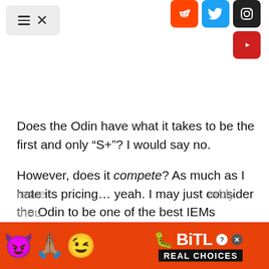Navigation menu and social icons (Reddit, Twitter, Instagram, YouTube)
Does the Odin have what it takes to be the first and only “S+”? I would say no.
However, does it compete? As much as I hate its pricing… yeah. I may just consider the Odin to be one of the best IEMs available today, at least in accordance to the metrics that I’ve established for this website. The tuning is solid, retaining the Legend X’s acclaimed midrange tonality with far superior bass control, and so should please more than it should detract. I hear no issue… erbly thou…
[Figure (screenshot): BitLife Real Choices advertisement banner at bottom of page]